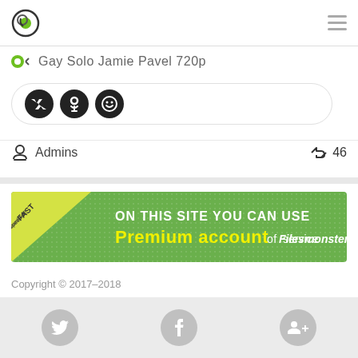Logo and hamburger menu
Gay Solo Jamie Pavel 720p
[Figure (other): Social share buttons row with VK, Odnoklassniki, and smiley face icons inside a rounded rectangle container]
Admins  46
[Figure (other): Green banner advertisement: FAST speed of file download! ON THIS SITE YOU CAN USE Premium account of Filesmonster.com service]
Copyright © 2017–2018
[Figure (other): Bottom gray bar with Twitter, Facebook, and Google+ social icons]